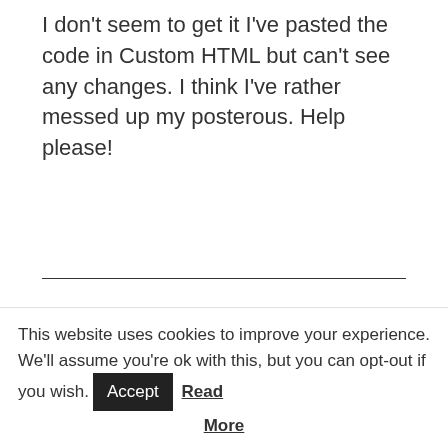I don't seem to get it I've pasted the code in Custom HTML but can't see any changes. I think I've rather messed up my posterous. Help please!
Reply
James Gorcesky says
February 5, 2012 at 7:38 pm
Thanks so much! just saved me a lot of time and
This website uses cookies to improve your experience. We'll assume you're ok with this, but you can opt-out if you wish. Accept Read More